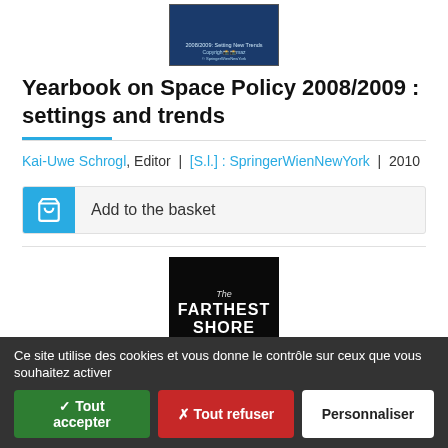[Figure (photo): Book cover: Yearbook on Space Policy 2008/2009 Setting New Trends, dark blue cover with copyright notice from SpringerWienNewYork]
Yearbook on Space Policy 2008/2009 : settings and trends
Kai-Uwe Schrogl, Editor | [S.l.] : SpringerWienNewYork | 2010
Add to the basket
[Figure (photo): Book cover: The Farthest Shore - A 21st Century Guide to Space, black cover with white text]
Ce site utilise des cookies et vous donne le contrôle sur ceux que vous souhaitez activer
✓ Tout accepter   ✗ Tout refuser   Personnaliser